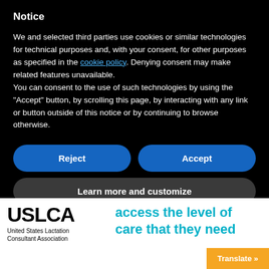Notice
We and selected third parties use cookies or similar technologies for technical purposes and, with your consent, for other purposes as specified in the cookie policy. Denying consent may make related features unavailable.
You can consent to the use of such technologies by using the “Accept” button, by scrolling this page, by interacting with any link or button outside of this notice or by continuing to browse otherwise.
Reject
Accept
Learn more and customize
[Figure (logo): USLCA logo - United States Lactation Consultant Association]
access the level of care that they need
Translate »